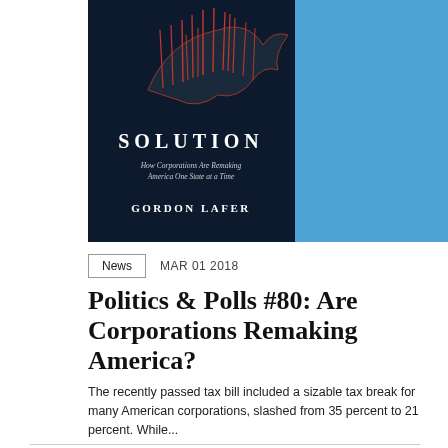[Figure (photo): Book cover for 'The One Percent Solution: How Corporations Are Remaking America One State at a Time' by Gordon Lafer. Dark navy left half with red line art of USA map and white text, blue right half.]
News   MAR 01 2018
Politics & Polls #80: Are Corporations Remaking America?
The recently passed tax bill included a sizable tax break for many American corporations, slashed from 35 percent to 21 percent. While...
[Figure (photo): Partially visible image at the bottom of the page, appears gray/muted.]